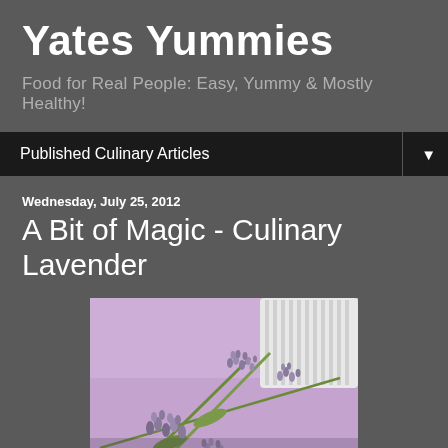Yates Yummies
Food for Real People: Easy, Yummy & Mostly Healthy!
Published Culinary Articles
Wednesday, July 25, 2012
A Bit of Magic - Culinary Lavender
[Figure (photo): Close-up photograph of fresh lavender sprigs with buds on a purple/lavender colored fabric background, with a white ramekin partially visible in the upper right corner.]